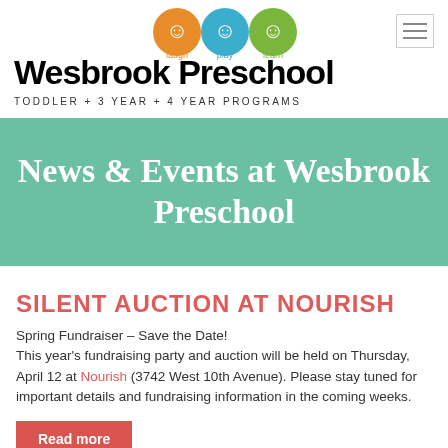[Figure (logo): Three circular icons with illustrated faces colored orange, blue, and green with text 'laugh play learn' below them]
[Figure (illustration): Hamburger menu icon (three horizontal lines) in a bordered box]
Wesbrook Preschool
TODDLER + 3 YEAR + 4 YEAR PROGRAMS
News & Events at Wesbrook Preschool
SILENT AUCTION AT NOURISH
Spring Fundraiser – Save the Date!
This year's fundraising party and auction will be held on Thursday, April 12 at Nourish (3742 West 10th Avenue). Please stay tuned for important details and fundraising information in the coming weeks.
Read more